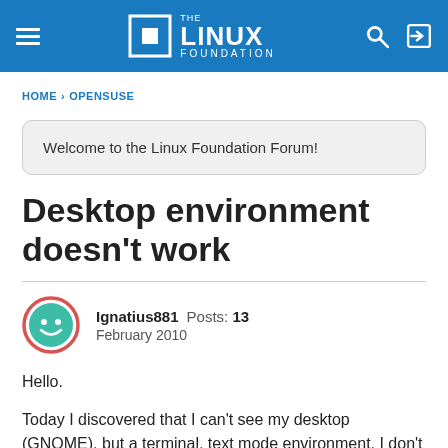The Linux Foundation
HOME › OPENSUSE
Welcome to the Linux Foundation Forum!
Desktop environment doesn't work
Ignatius881  Posts: 13  February 2010
Hello.
Today I discovered that I can't see my desktop (GNOME), but a terminal, text mode environment. I don't know why did that happen.